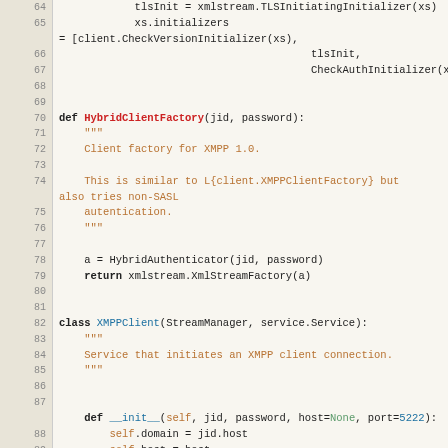[Figure (screenshot): Source code listing (Python) showing lines 64–93 of a file, with syntax highlighting. Functions HybridClientFactory and class XMPPClient are shown with docstrings and method definitions.]